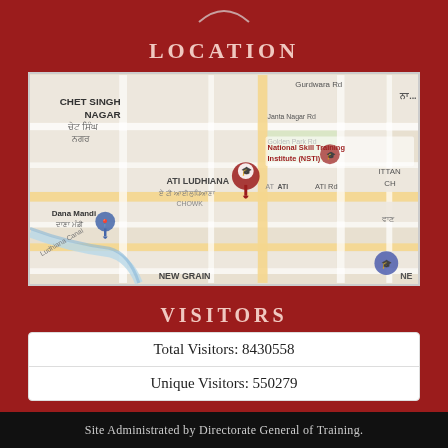LOCATION
[Figure (map): Google Maps screenshot showing ATI Ludhiana location near Chet Singh Nagar, National Skill Training Institute (NSTI), Dana Mandi area in Ludhiana, Punjab, India.]
VISITORS
| Total Visitors: 8430558 |
| Unique Visitors: 550279 |
Site Administrated by Directorate General of Training.